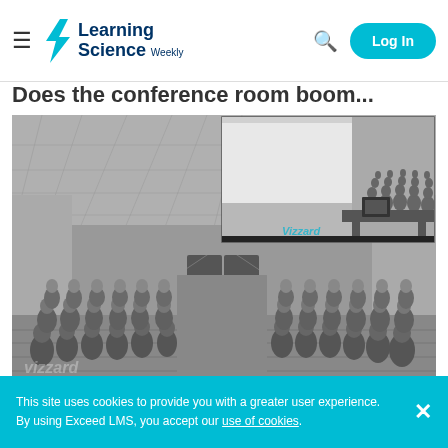Learning Science Weekly — Log In
Does the conference room boom...
[Figure (photo): Virtual conference room rendered in 3D. A large hall filled with rows of seated audience figures (avatar people). At the top right is an inset showing the speaker's view of the desk with a countdown on a computer screen. The Vizzard logo is visible in the bottom left. The scene is rendered in black and white / grayscale.]
Fig 1. Virtual conference room. Virtual conference room in which participants delivered their speech. Top right of the Figure shows the view of the desk with the 3 minute countdown on the computer screen.
https://doi.org/10.1371/journal.pone.0245960.g001
This site uses cookies to provide you with a greater user experience. By using Exceed LMS, you accept our use of cookies.